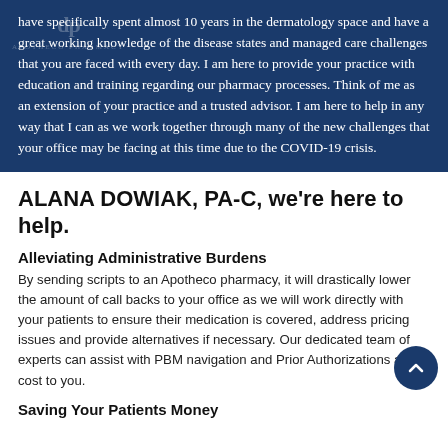have specifically spent almost 10 years in the dermatology space and have a great working knowledge of the disease states and managed care challenges that you are faced with every day. I am here to provide your practice with education and training regarding our pharmacy processes. Think of me as an extension of your practice and a trusted advisor. I am here to help in any way that I can as we work together through many of the new challenges that your office may be facing at this time due to the COVID-19 crisis.
ALANA DOWIAK, PA-C, we're here to help.
Alleviating Administrative Burdens
By sending scripts to an Apotheco pharmacy, it will drastically lower the amount of call backs to your office as we will work directly with your patients to ensure their medication is covered, address pricing issues and provide alternatives if necessary. Our dedicated team of experts can assist with PBM navigation and Prior Authorizations at no cost to you.
Saving Your Patients Money